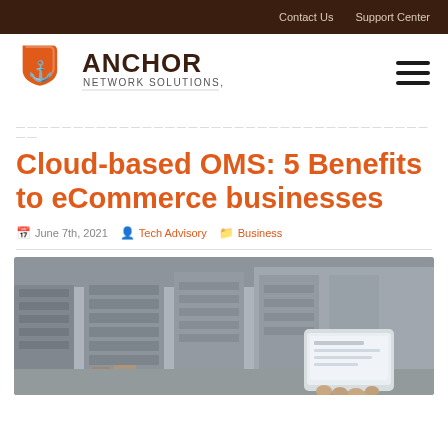Contact Us   Support Center
[Figure (logo): Anchor Network Solutions, Inc. logo with orange anchor icon and bold text]
Cloud-based OMS: 5 Benefits to eCommerce businesses
June 7th, 2021   Tech Advisory   Business
[Figure (photo): Blurred warehouse interior with shelving; person holding a tablet in the foreground]